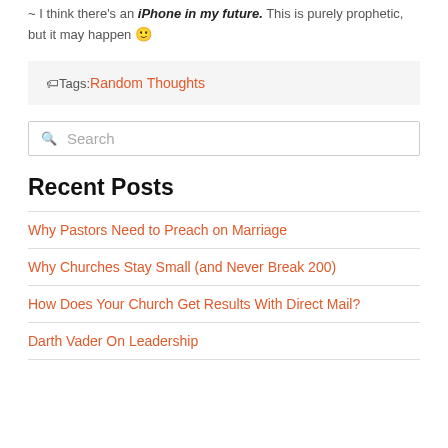~ I think there's an iPhone in my future. This is purely prophetic, but it may happen 🙂
🏷Tags: Random Thoughts
Search
Recent Posts
Why Pastors Need to Preach on Marriage
Why Churches Stay Small (and Never Break 200)
How Does Your Church Get Results With Direct Mail?
Darth Vader On Leadership